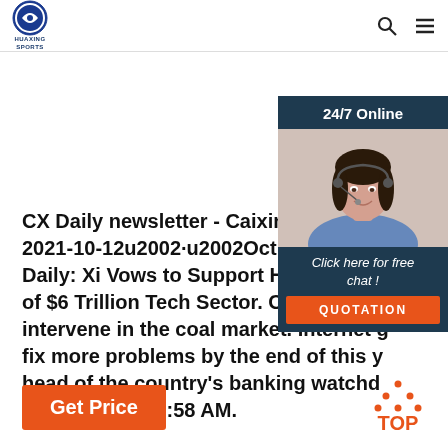HUAXING SPORTS
[Figure (infographic): 24/7 Online customer service advertisement with photo of woman wearing headset, and a QUOTATION button with 'Click here for free chat!' text]
CX Daily newsletter - Caixin Global 2021-10-12u2002·u2002Oct 21, 2021 1: Daily: Xi Vows to Support Healthy Dev of $6 Trillion Tech Sector. China's top intervene in the coal market. Internet g fix more problems by the end of this y head of the country's banking watchd Oct 20, 2021 09:58 AM.
Get Price
[Figure (infographic): TOP button with arrow pointing upward, dotted triangle icon above the word TOP in orange]